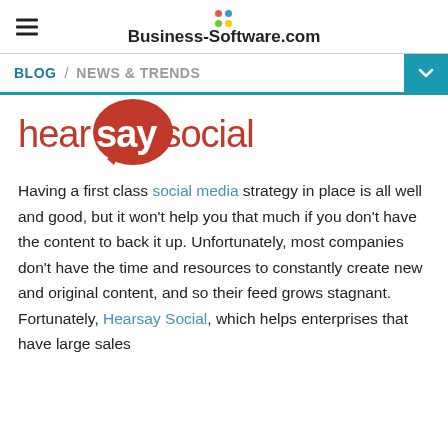Business-Software.com
BLOG / NEWS & TRENDS
[Figure (logo): Hearsay Social logo: 'hear' in red, 'say' in white on a red speech bubble circle, 'social' in red]
Having a first class social media strategy in place is all well and good, but it won't help you that much if you don't have the content to back it up. Unfortunately, most companies don't have the time and resources to constantly create new and original content, and so their feed grows stagnant. Fortunately, Hearsay Social, which helps enterprises that have large sales